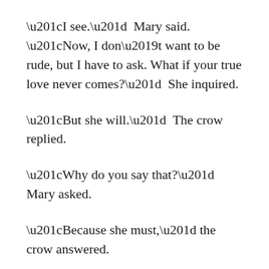“I see.”  Mary said.  “Now, I don’t want to be rude, but I have to ask. What if your true love never comes?”  She inquired.
“But she will.”  The crow replied.
“Why do you say that?”  Mary asked.
“Because she must,” the crow answered.
“What make you so sure?” Mary pressed.